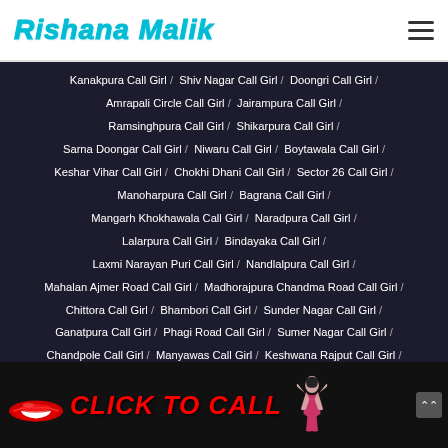Rishana Malik
Kanakpura Call Girl / Shiv Nagar Call Girl / Doongri Call Girl / Amrapali Circle Call Girl / Jairampura Call Girl / Ramsinghpura Call Girl / Shikarpura Call Girl / Sarna Doongar Call Girl / Niwaru Call Girl / Boytawala Call Girl / Keshar Vihar Call Girl / Chokhi Dhani Call Girl / Sector 26 Call Girl / Manoharpura Call Girl / Bagrana Call Girl / Mangarh Khokhawala Call Girl / Naradpura Call Girl / Lalarpura Call Girl / Bindayaka Call Girl / Laxmi Narayan Puri Call Girl / Nandlalpura Call Girl / Mahalan Ajmer Road Call Girl / Madhorajpura Chandma Road Call Girl / Chittora Call Girl / Bhambori Call Girl / Sunder Nagar Call Girl / Ganatpura Call Girl / Phagi Road Call Girl / Sumer Nagar Call Girl / Chandpole Call Girl / Manyawas Call Girl / Keshwana Rajput Call Girl /
[Figure (infographic): Click to Call banner with red lips image and bikini girl illustration]